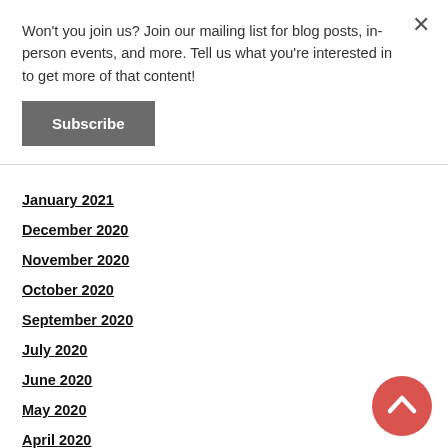Won't you join us? Join our mailing list for blog posts, in-person events, and more. Tell us what you're interested in to get more of that content!
Subscribe
January 2021
December 2020
November 2020
October 2020
September 2020
July 2020
June 2020
May 2020
April 2020
March 2020
February 2020
January 2020
[Figure (illustration): Red circular scroll-to-top button with upward chevron arrow]